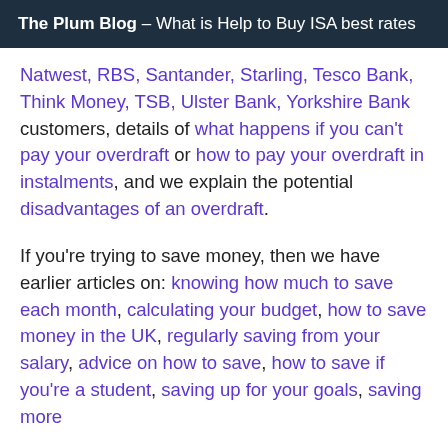The Plum Blog – What is Help to Buy ISA best rates
Natwest, RBS, Santander, Starling, Tesco Bank, Think Money, TSB, Ulster Bank, Yorkshire Bank customers, details of what happens if you can't pay your overdraft or how to pay your overdraft in instalments, and we explain the potential disadvantages of an overdraft.
If you're trying to save money, then we have earlier articles on: knowing how much to save each month, calculating your budget, how to save money in the UK, regularly saving from your salary, advice on how to save, how to save if you're a student, saving up for your goals, saving more